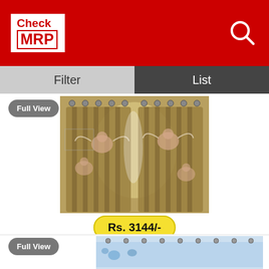Check MRP
Filter
List
Full View
[Figure (photo): Photo of decorative curtains with oil painting print of cherubs/angels on a golden-brown background, hung with metal grommets]
Rs. 3144/-
Oil Painting Print 3D Waterproof Outdoor Curtains Blackout Window Curtain For Living Room Modern Double Bedroom Curtain Wall Art
Selling By: Aliexpress.com(In Stock)
Full View
[Figure (photo): Partial view of another curtain product with blue/white floral print and metal grommets]